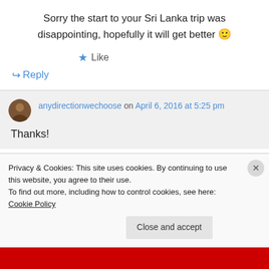Sorry the start to your Sri Lanka trip was disappointing, hopefully it will get better 🙂
★ Like
↪ Reply
anydirectionwechoose on April 6, 2016 at 5:25 pm
Thanks!
Privacy & Cookies: This site uses cookies. By continuing to use this website, you agree to their use.
To find out more, including how to control cookies, see here: Cookie Policy
Close and accept